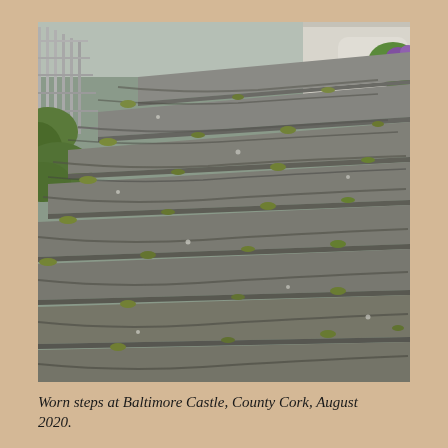[Figure (photo): Photograph of worn stone steps at Baltimore Castle, County Cork, taken in August 2020. The steps are heavily weathered and eroded, with grass and weeds growing between the stones. There is a metal railing on the left side and vegetation visible on both sides.]
Worn steps at Baltimore Castle, County Cork, August 2020.